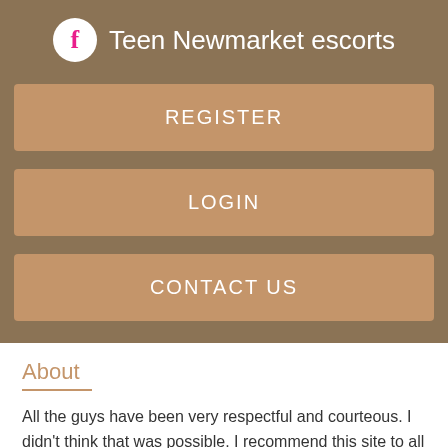Teen Newmarket escorts
REGISTER
LOGIN
CONTACT US
About
All the guys have been very respectful and courteous. I didn't think that was possible. I recommend this site to all who dream of meeting their soulmate. Here, you will find thousands of transgender women and men who like transgender women, whether you are looking for transsexual women in the USAtransgender women in